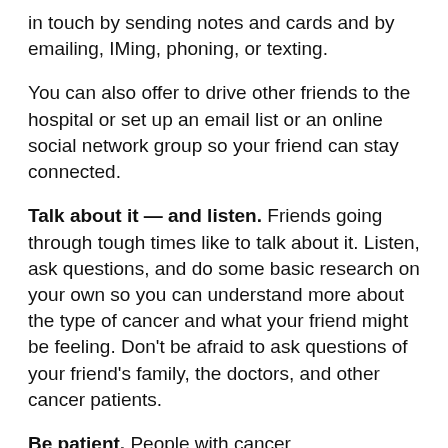in touch by sending notes and cards and by emailing, IMing, phoning, or texting.
You can also offer to drive other friends to the hospital or set up an email list or an online social network group so your friend can stay connected.
Talk about it — and listen. Friends going through tough times like to talk about it. Listen, ask questions, and do some basic research on your own so you can understand more about the type of cancer and what your friend might be feeling. Don't be afraid to ask questions of your friend's family, the doctors, and other cancer patients.
Be patient. People with cancer, understandably, are often sad, anxious, and afraid. On top of that, some treatments have side effects like fatigue or mood